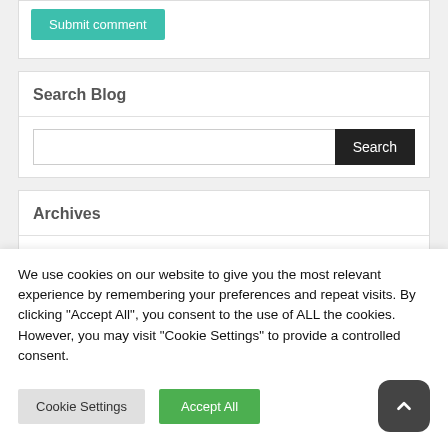[Figure (screenshot): Submit comment button (teal/green background, white text)]
Search Blog
[Figure (screenshot): Search input box with Search button (dark background, white text)]
Archives
September 2019
We use cookies on our website to give you the most relevant experience by remembering your preferences and repeat visits. By clicking "Accept All", you consent to the use of ALL the cookies. However, you may visit "Cookie Settings" to provide a controlled consent.
[Figure (screenshot): Cookie Settings button (light gray background) and Accept All button (green background), plus scroll-to-top button (dark rounded square with chevron up)]